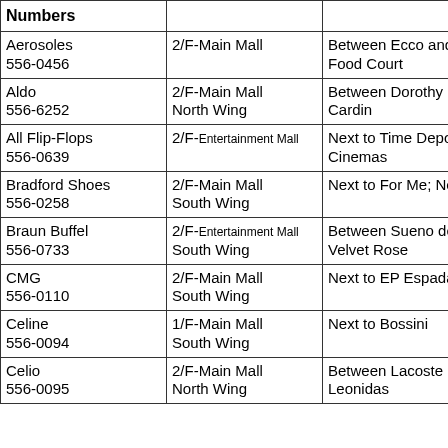| Numbers |  |  |
| --- | --- | --- |
| Aerosoles
556-0456 | 2/F-Main Mall | Between Ecco and I
Food Court |
| Aldo
556-6252 | 2/F-Main Mall
North Wing | Between Dorothy Pe
Cardin |
| All Flip-Flops
556-0639 | 2/F-Entertainment Mall | Next to Time Depot;
Cinemas |
| Bradford Shoes
556-0258 | 2/F-Main Mall
South Wing | Next to For Me; Nea |
| Braun Buffel
556-0733 | 2/F-Entertainment Mall
South Wing | Between Sueno de
Velvet Rose |
| CMG
556-0110 | 2/F-Main Mall
South Wing | Next to EP Espada |
| Celine
556-0094 | 1/F-Main Mall
South Wing | Next to Bossini |
| Celio
556-0095 | 2/F-Main Mall
North Wing | Between Lacoste Fo
Leonidas |